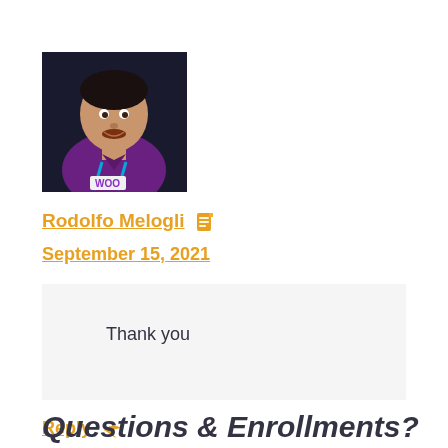[Figure (photo): Profile photo of a man wearing a purple shirt with a WooCommerce badge/lanyard, dark background]
Rodolfo Melogli 📄
September 15, 2021
Thank you
Reply ↩
Questions & Enrollments?